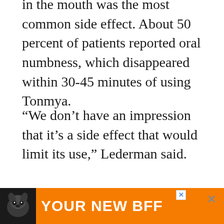in the mouth was the most common side effect. About 50 percent of patients reported oral numbness, which disappeared within 30-45 minutes of using Tonmya.
“We don’t have an impression that it’s a side effect that would limit its use,” Lederman said.
Tonmya also is being studied in those with post-traumatic stress disorder.
Update 9/26/16: Tonix has suspended its
[Figure (other): Advertisement banner with dog image and text YOUR NEW BFF on orange background]